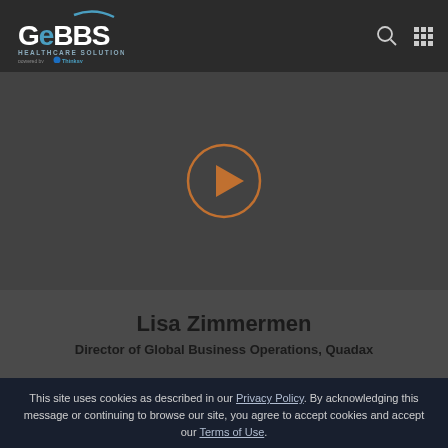[Figure (logo): GeBBS Healthcare Solutions logo powered by Thinksy, white/blue text on dark background]
[Figure (screenshot): Video player area with circular play button (orange outline, orange triangle) on dark gray background — testimonial video for Lisa Zimmermen]
Lisa Zimmermen
Director of Global Business Operations, Quadax
This site uses cookies as described in our Privacy Policy. By acknowledging this message or continuing to browse our site, you agree to accept cookies and accept our Terms of Use.
ABOUT COOKIES
ACCEPT ALL COOKIES